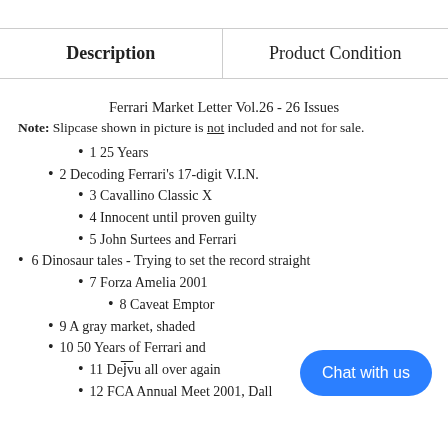| Description | Product Condition |
| --- | --- |
Ferrari Market Letter Vol.26 - 26 Issues
Note: Slipcase shown in picture is not included and not for sale.
1 25 Years
2 Decoding Ferrari's 17-digit V.I.N.
3 Cavallino Classic X
4 Innocent until proven guilty
5 John Surtees and Ferrari
6 Dinosaur tales - Trying to set the record straight
7 Forza Amelia 2001
8 Caveat Emptor
9 A gray market, shaded
10 50 Years of Ferrari and
11 Dej̄ vu all over again
12 FCA Annual Meet 2001, Dall...